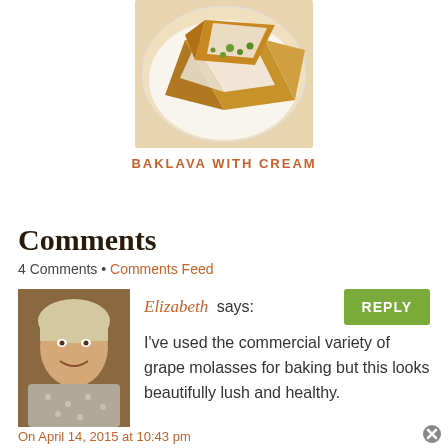[Figure (photo): Photo of baklava with cream on a white plate, triangular pieces with green pistachios visible]
BAKLAVA WITH CREAM
Comments
4 Comments • Comments Feed
[Figure (photo): Profile photo of a woman named Elizabeth, smiling, with short light hair, wearing a patterned top]
Elizabeth says:
I've used the commercial variety of grape molasses for baking but this looks beautifully lush and healthy.
On April 14, 2015 at 10:43 pm